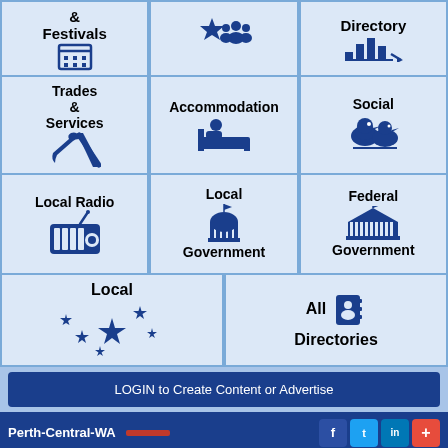[Figure (screenshot): Grid of navigation category tiles for a local directory website including Festivals, Trades & Services, Accommodation, Social, Local Radio, Local Government, Federal Government, Local (Australia stars), All Directories, LOGIN button, Perth-Central-WA footer with social icons, Terms of use, Privacy Policy, About us links, and Australian Regional Network branding]
LOGIN to Create Content or Advertise
Perth-Central-WA
Terms of use
Privacy Policy
About us
Australian Regional Network